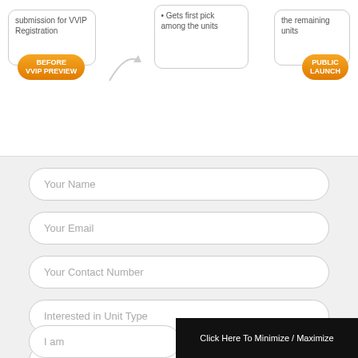[Figure (infographic): VVIP Registration flow diagram showing steps before VVIP Preview and before Public Launch with orange badges and arrow]
Your Name
Your Email
Your Contact Number
Interested in Unit Type
I am looking for
I am
Click Here To Minimize / Maximize